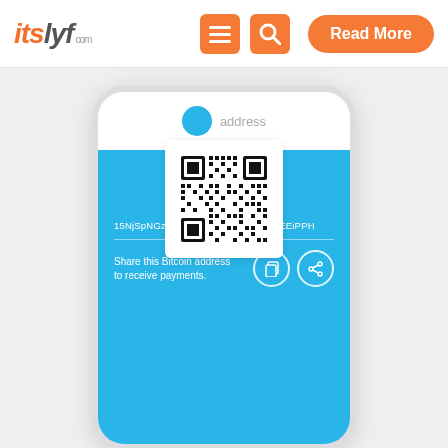itslyf.com | navigation menu | search | Read More
[Figure (screenshot): Mobile phone screenshot showing a Bitcoin wallet app with a QR code, Bitcoin address 15NjSpNGzowYoQMzFRJsXeiqSMSsEEiPPH, and text 'Share this Bitcoin address to receive payments.' on a blue background.]